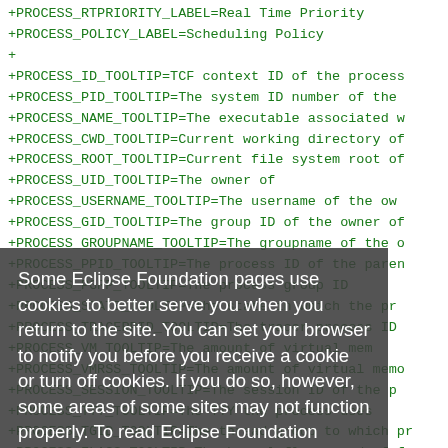+PROCESS_RTPRIORITY_LABEL=Real Time Priority
+PROCESS_POLICY_LABEL=Scheduling Policy
+
+PROCESS_ID_TOOLTIP=TCF context ID of the process
+PROCESS_PID_TOOLTIP=The system ID number of the
+PROCESS_NAME_TOOLTIP=The executable associated w
+PROCESS_CWD_TOOLTIP=Current working directory of
+PROCESS_ROOT_TOOLTIP=Current file system root of
+PROCESS_UID_TOOLTIP=The owner of
+PROCESS_USERNAME_TOOLTIP=The username of the ow
+PROCESS_GID_TOOLTIP=The group ID of the owner of
+PROCESS_GROUPNAME_TOOLTIP=The groupname of the o
+PROCESS_PPID_TOOLTIP=The process ID of the paren
+PROCESS_PGRP_TOOLTIP=The process group ID
+PROCESS_STATE_TOOLTIP=The state in which the pr
+PROCESS_TRACERPID_TOOLTIP=The tracer process ID
+PROCESS_VM_TOOLTIP=The amount of virtual mem
+PROCESS_VMRSS_TOOLTIP=The amount of virtual memo
+PROCESS_SESSION_TOOLTIP=The session ID of the p
+PROCESS_TTY_TOOLTIP=The TTY the process uses
+PROCESS_TGID_TOOLTIP=The thread group to which pr
+PROCESS_FLAGS_TOOLTIP=The kernel flags word of f
+PROCESS_MINFLT_TOOLTIP=The number of minor fault
+PROCESS_CMINFLT_TOOLTIP=The number of minor faul
Some Eclipse Foundation pages use cookies to better serve you when you return to the site. You can set your browser to notify you before you receive a cookie or turn off cookies. If you do so, however, some areas of some sites may not function properly. To read Eclipse Foundation Privacy Policy click here.